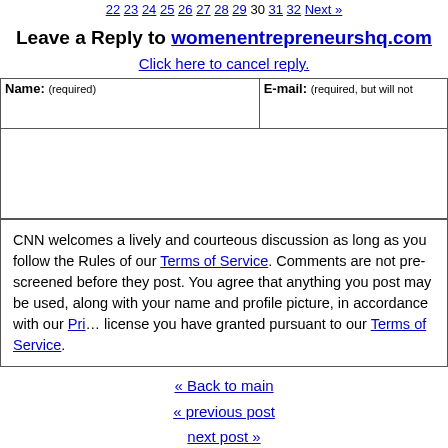22 23 24 25 26 27 28 29 30 31 32 Next »
Leave a Reply to womenentrepreneurshq.com
Click here to cancel reply.
| Name: (required) | E-mail: (required, but will not be published) |
| --- | --- |
|  |  |
CNN welcomes a lively and courteous discussion as long as you follow the Rules of our Terms of Service. Comments are not pre-screened before they post. You agree that anything you post may be used, along with your name and profile picture, in accordance with our Privacy Policy and the license you have granted pursuant to our Terms of Service.
« Back to main
« previous post
next post »
About "Reliable Sources"